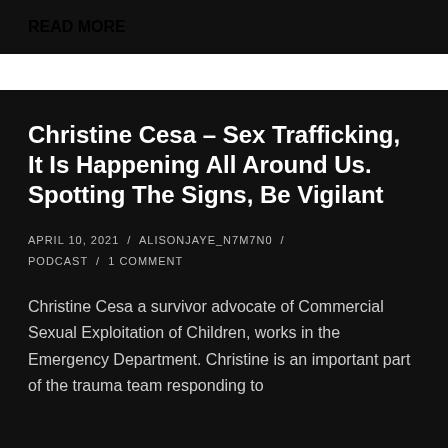READ MORE
Christine Cesa – Sex Trafficking, It Is Happening All Around Us. Spotting The Signs, Be Vigilant
APRIL 10, 2021 / ALISONJAYE_N7M7N0 / PODCAST / 1 COMMENT
Christine Cesa a survivor advocate of Commercial Sexual Exploitation of Children, works in the Emergency Department. Christine is an important part of the trauma team responding to